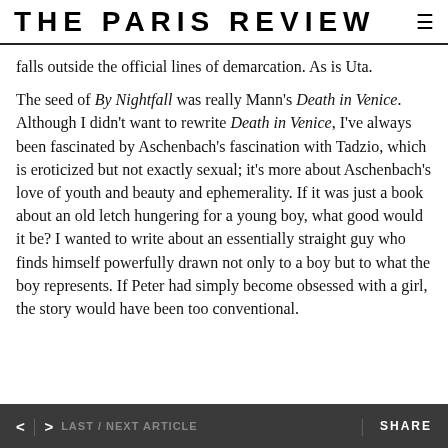THE PARIS REVIEW
falls outside the official lines of demarcation. As is Uta.
The seed of By Nightfall was really Mann’s Death in Venice. Although I didn’t want to rewrite Death in Venice, I’ve always been fascinated by Aschenbach’s fascination with Tadzio, which is eroticized but not exactly sexual; it’s more about Aschenbach’s love of youth and beauty and ephemerality. If it was just a book about an old letch hungering for a young boy, what good would it be? I wanted to write about an essentially straight guy who finds himself powerfully drawn not only to a boy but to what the boy represents. If Peter had simply become obsessed with a girl, the story would have been too conventional.
< | > LAST / NEXT ARTICLE    SHARE